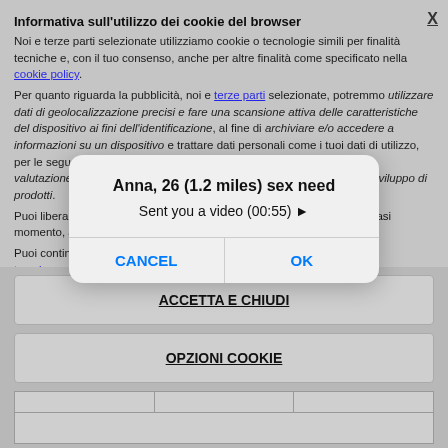Informativa sull'utilizzo dei cookie del browser
Noi e terze parti selezionate utilizziamo cookie o tecnologie simili per finalità tecniche e, con il tuo consenso, anche per altre finalità come specificato nella cookie policy.
Per quanto riguarda la pubblicità, noi e terze parti selezionate, potremmo utilizzare dati di geolocalizzazione precisi e fare una scansione attiva delle caratteristiche del dispositivo ai fini dell'identificazione, al fine di archiviare e/o accedere a informazioni su un dispositivo e trattare dati personali come i tuoi dati di utilizzo, per le seguenti finalità pubblicitarie: annunci e contenuti personalizzati, valutazione degli annunci e del contenuto, osservazioni del pubblico e sviluppo di prodotti.
Puoi liberamente prestare, rifiutare o revocare il tuo consenso, in qualsiasi momento, accedendo al pannello delle preferenze.
Puoi continuare la navigazione in assenza di cookie o altri strumenti di tracciamento diversi da quelli tecnici cliccando sul
[Figure (screenshot): iOS-style alert dialog overlay with title 'Anna, 26 (1.2 miles) sex need', subtitle 'Sent you a video (00:55) ►', and two buttons: CANCEL and OK]
ACCETTA E CHIUDI
OPZIONI COOKIE